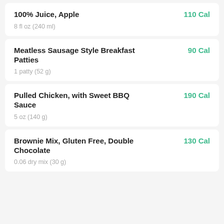100% Juice, Apple — 110 Cal — 8 fl oz (240 ml)
Meatless Sausage Style Breakfast Patties — 90 Cal — 1 patty (52 g)
Pulled Chicken, with Sweet BBQ Sauce — 190 Cal — 5 oz (140 g)
Brownie Mix, Gluten Free, Double Chocolate — 130 Cal — 0.06 dry mix (30 g)